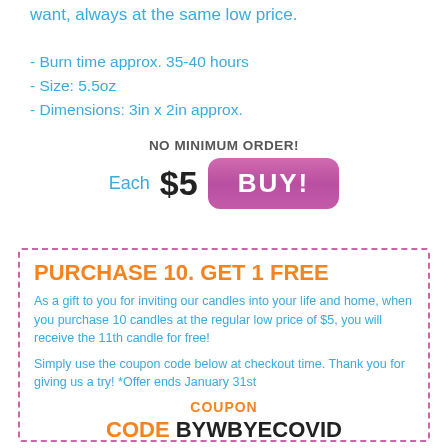want, always at the same low price.
- Burn time approx. 35-40 hours
- Size: 5.5oz
- Dimensions: 3in x 2in approx.
NO MINIMUM ORDER!
Each $5 BUY!
PURCHASE 10. GET 1 FREE
As a gift to you for inviting our candles into your life and home, when you purchase 10 candles at the regular low price of $5, you will receive the 11th candle for free!
Simply use the coupon code below at checkout time. Thank you for giving us a try! *Offer ends January 31st
COUPON
CODE BYWBYECOVID